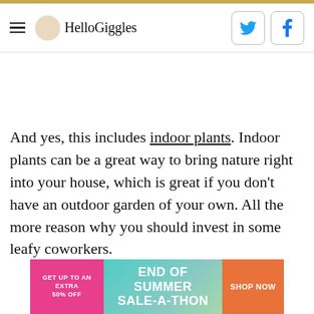HelloGiggles
And yes, this includes indoor plants. Indoor plants can be a great way to bring nature right into your house, which is great if you don't have an outdoor garden of your own. All the more reason why you should invest in some leafy coworkers.
[Figure (infographic): Advertisement banner: GET UP TO AN EXTRA 50% OFF | END OF SUMMER SALE-A-THON | SHOP NOW]